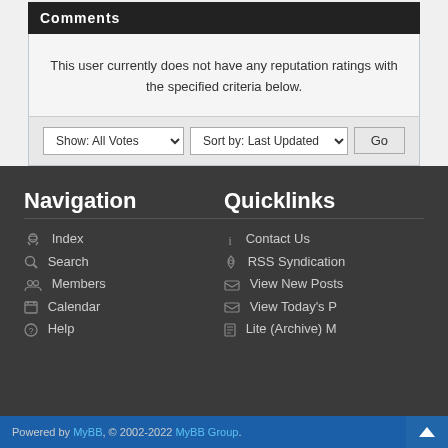Comments
This user currently does not have any reputation ratings with the specified criteria below.
Show: All Votes   Sort by: Last Updated   Go
Navigation
Quicklinks
Index
Search
Members
Calendar
Help
Contact Us
RSS Syndication
View New Posts
View Today's P
Lite (Archive) M
Powered by MyBB, © 2002-2022 MyBB Group.